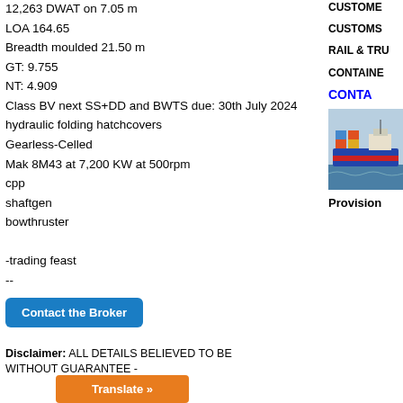12,263 DWAT on 7.05 m
LOA 164.65
Breadth moulded 21.50 m
GT: 9.755
NT: 4.909
Class BV next SS+DD and BWTS due: 30th July 2024
hydraulic folding hatchcovers
Gearless-Celled
Mak 8M43 at 7,200 KW at 500rpm
cpp
shaftgen
bowthruster

-trading feast
--
Contact the Broker
Disclaimer: ALL DETAILS BELIEVED TO BE WITHOUT GUARANTEE -
CUSTOME
CUSTOMS
RAIL & TRU
CONTAINE
CONTA
[Figure (photo): Container ship at sea, showing red and blue hull with containers on deck]
Provision